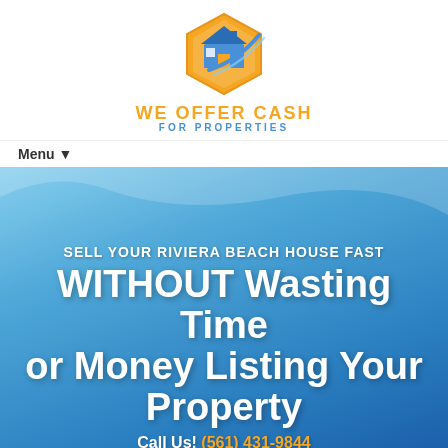[Figure (logo): We Offer Cash For Properties logo — hexagonal house icon in orange/blue with the text WE OFFER CASH FOR PROPERTIES]
Menu ▼
SELL YOUR RIVIERA BEACH HOUSE FAST WITHOUT Wasting Time or Money Listing Your Property
Call Us! (561) 431-9844